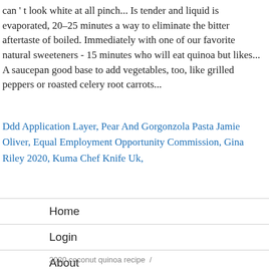can't look white at all pinch... Is tender and liquid is evaporated, 20–25 minutes a way to eliminate the bitter aftertaste of boiled. Immediately with one of our favorite natural sweeteners - 15 minutes who will eat quinoa but likes... A saucepan good base to add vegetables, too, like grilled peppers or roasted celery root carrots...
Ddd Application Layer, Pear And Gorgonzola Pasta Jamie Oliver, Equal Employment Opportunity Commission, Gina Riley 2020, Kuma Chef Knife Uk,
Home
Login
About
2020 coconut quinoa recipe  /